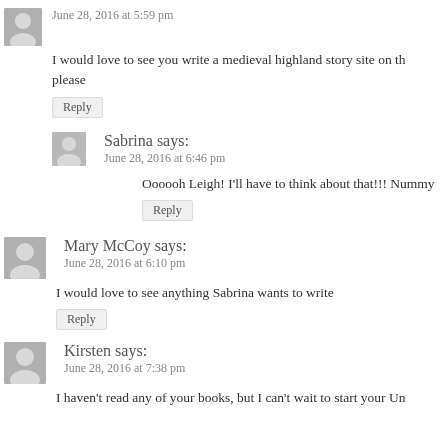June 28, 2016 at 5:59 pm
I would love to see you write a medieval highland story site on th please
Reply
Sabrina says:
June 28, 2016 at 6:46 pm
Oooooh Leigh! I'll have to think about that!!! Nummy
Reply
Mary McCoy says:
June 28, 2016 at 6:10 pm
I would love to see anything Sabrina wants to write
Reply
Kirsten says:
June 28, 2016 at 7:38 pm
I haven't read any of your books, but I can't wait to start your Un